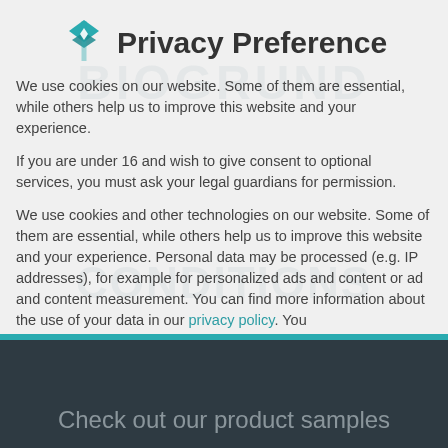Privacy Preference
We use cookies on our website. Some of them are essential, while others help us to improve this website and your experience.
If you are under 16 and wish to give consent to optional services, you must ask your legal guardians for permission.
We use cookies and other technologies on our website. Some of them are essential, while others help us to improve this website and your experience. Personal data may be processed (e.g. IP addresses), for example for personalized ads and content or ad and content measurement. You can find more information about the use of your data in our privacy policy. You
Essential
Check out our product samples